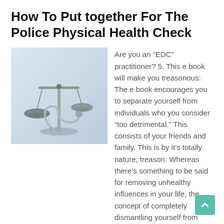How To Put together For The Police Physical Health Check
[Figure (photo): A set of balanced scales of justice with a stethoscope on a light blue background]
Are you an “EDC” practitioner? 5. This e book will make you treasonous: The e book encourages you to separate yourself from individuals who you consider “too detrimental.” This consists of your friends and family. This is by it’s totally nature; treason. Whereas there’s something to be said for removing unhealthy influences in your life, the concept of completely dismantling yourself from individuals who don’t fully imagine on this dogma is harsh.